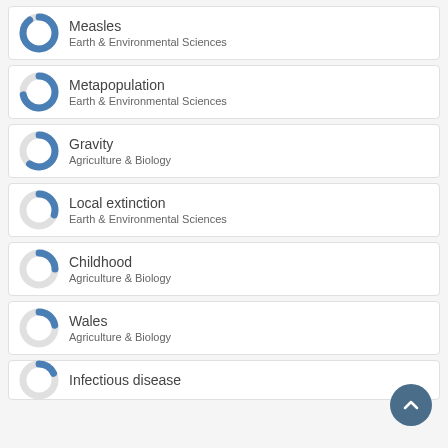Measles — Earth & Environmental Sciences
Metapopulation — Earth & Environmental Sciences
Gravity — Agriculture & Biology
Local extinction — Earth & Environmental Sciences
Childhood — Agriculture & Biology
Wales — Agriculture & Biology
Infectious disease